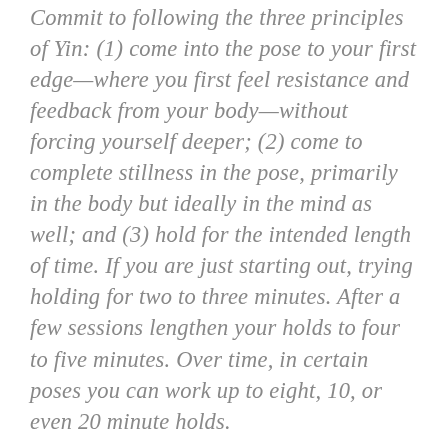Commit to following the three principles of Yin: (1) come into the pose to your first edge—where you first feel resistance and feedback from your body—without forcing yourself deeper; (2) come to complete stillness in the pose, primarily in the body but ideally in the mind as well; and (3) hold for the intended length of time. If you are just starting out, trying holding for two to three minutes. After a few sessions lengthen your holds to four to five minutes. Over time, in certain poses you can work up to eight, 10, or even 20 minute holds.